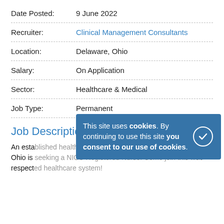Date Posted: 9 June 2022
Recruiter: Clinical Management Consultants
Location: Delaware, Ohio
Salary: On Application
Sector: Healthcare & Medical
Job Type: Permanent
Job Description
An established healthcare organization located in theopolitan Ohio is seeking a NICU Registered Nurse. Come join this well-respected healthcare system!
This site uses cookies. By continuing to use this site you consent to our use of cookies.